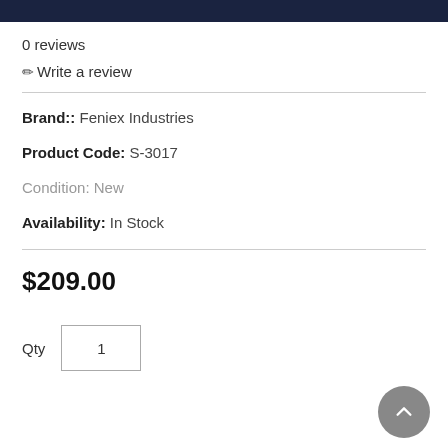0 reviews
✏ Write a review
Brand:: Feniex Industries
Product Code: S-3017
Condition: New
Availability: In Stock
$209.00
Qty  1